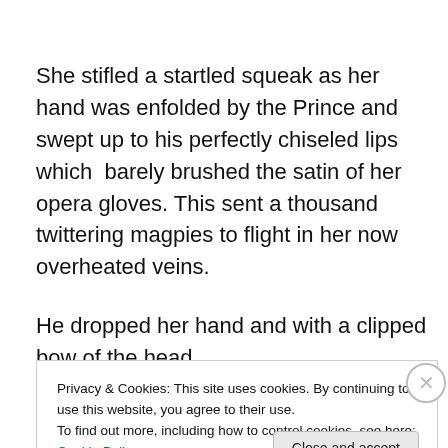She stifled a startled squeak as her hand was enfolded by the Prince and swept up to his perfectly chiseled lips which  barely brushed the satin of her opera gloves. This sent a thousand twittering magpies to flight in her now overheated veins.
He dropped her hand and with a clipped bow of the head
Privacy & Cookies: This site uses cookies. By continuing to use this website, you agree to their use.
To find out more, including how to control cookies, see here: Cookie Policy